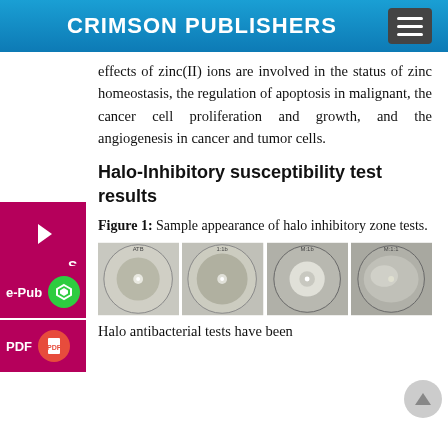CRIMSON PUBLISHERS
effects of zinc(II) ions are involved in the status of zinc homeostasis, the regulation of apoptosis in malignant, the cancer cell proliferation and growth, and the angiogenesis in cancer and tumor cells.
Halo-Inhibitory susceptibility test results
Figure 1: Sample appearance of halo inhibitory zone tests.
[Figure (photo): Four circular petri dish photos showing halo inhibitory zone tests with white inhibitory halos visible around central points on bacterial growth media.]
Halo antibacterial tests have been